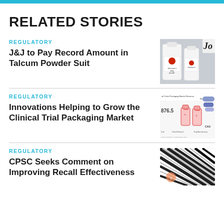RELATED STORIES
REGULATORY
J&J to Pay Record Amount in Talcum Powder Suit
[Figure (photo): Johnson's baby powder white bottles on shelf with Johnson & Johnson branding visible]
REGULATORY
Innovations Helping to Grow the Clinical Trial Packaging Market
[Figure (infographic): Clinical Trials Packaging Market Revenue infographic with illustrated medication vials and bar chart showing 876.5 value, CAGR mentioned]
REGULATORY
CPSC Seeks Comment on Improving Recall Effectiveness